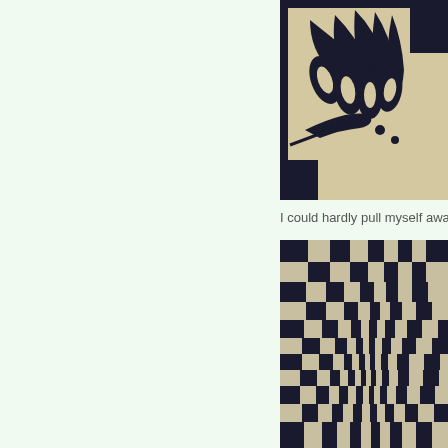[Figure (photo): Close-up photo of a quilt with black decorative appliqué shapes on a cream/beige background with a black border. The shapes appear to be floral or leaf-like with curved lines.]
I could hardly pull myself away.  It w
[Figure (photo): Photo of a checkerboard quilt with a warped/optical illusion pattern. The quilt features dark navy/black and cream/beige squares arranged in a curved, spherical optical illusion pattern.]